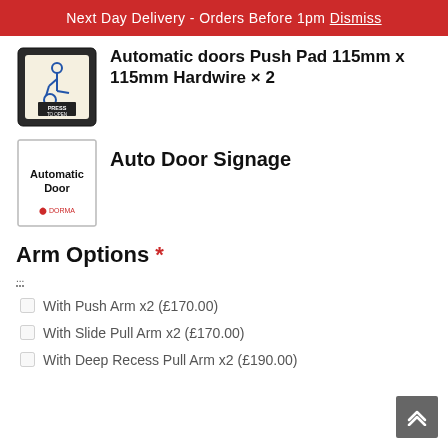Next Day Delivery - Orders Before 1pm Dismiss
Automatic doors Push Pad 115mm x 115mm Hardwire × 2
Auto Door Signage
Arm Options *
With Push Arm x2 (£170.00)
With Slide Pull Arm x2 (£170.00)
With Deep Recess Pull Arm x2 (£190.00)